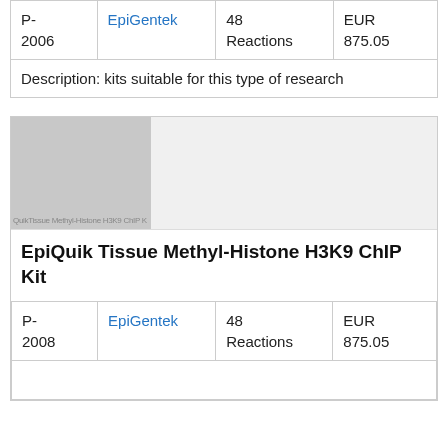| Code | Supplier | Size | Price |
| --- | --- | --- | --- |
| P-2006 | EpiGentek | 48 Reactions | EUR 875.05 |
| Description: kits suitable for this type of research |  |  |  |
[Figure (photo): Product image for EpiQuik Tissue Methyl-Histone H3K9 ChIP Kit, showing a gray placeholder with faint text label]
EpiQuik Tissue Methyl-Histone H3K9 ChIP Kit
| Code | Supplier | Size | Price |
| --- | --- | --- | --- |
| P-2008 | EpiGentek | 48 Reactions | EUR 875.05 |